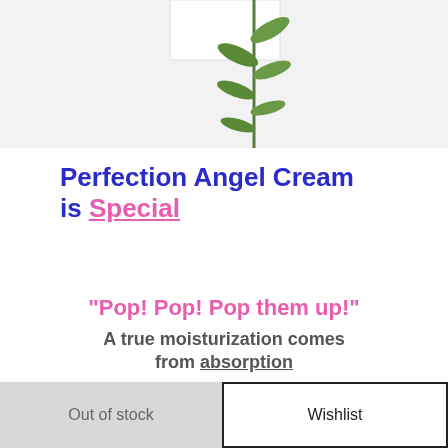[Figure (photo): Product photo showing a white cream jar with a green plant sprig on a white background, partially cropped at top]
Perfection Angel Cream is Special
"Pop! Pop! Pop them up!" A true moisturization comes from absorption
Out of stock
Wishlist